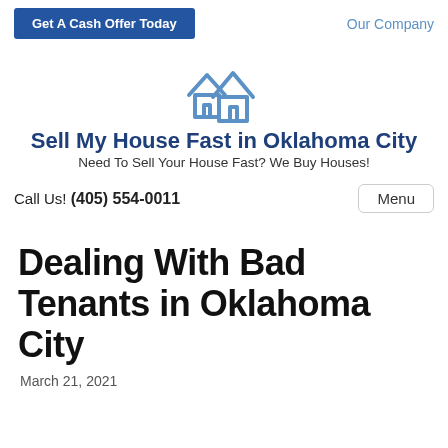Get A Cash Offer Today   Our Company
[Figure (logo): Two overlapping house outlines icon, blue color]
Sell My House Fast in Oklahoma City
Need To Sell Your House Fast? We Buy Houses!
Call Us! (405) 554-0011
Dealing With Bad Tenants in Oklahoma City
March 21, 2021